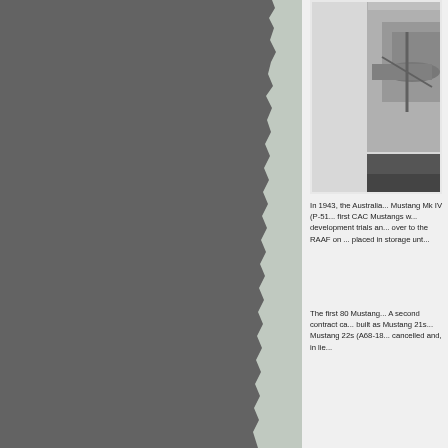[Figure (photo): Left portion shows a large grey background panel with torn/ragged right edge revealing lighter grey beneath. Right side shows partial black and white photograph of what appears to be an aircraft, partially cropped.]
In 1943, the Australian Mustang Mk IV (P-51... first CAC Mustangs w... development trials an... over to the RAAF on ... placed in storage unt...
The first 80 Mustang... A second contract ca... built as Mustang 21s... Mustang 22s (A68-18... cancelled and, in lie...